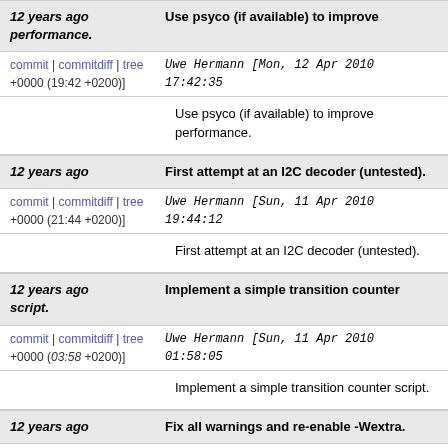12 years ago — Use psyco (if available) to improve performance.
commit | commitdiff | tree — Uwe Hermann [Mon, 12 Apr 2010 17:42:35 +0000 (19:42 +0200)]
Use psyco (if available) to improve performance.
12 years ago — First attempt at an I2C decoder (untested).
commit | commitdiff | tree — Uwe Hermann [Sun, 11 Apr 2010 19:44:12 +0000 (21:44 +0200)]
First attempt at an I2C decoder (untested).
12 years ago — Implement a simple transition counter script.
commit | commitdiff | tree — Uwe Hermann [Sun, 11 Apr 2010 01:58:05 +0000 (03:58 +0200)]
Implement a simple transition counter script.
12 years ago — Fix all warnings and re-enable -Wextra.
commit | commitdiff | tree — Uwe Hermann [Fri, 9 Apr 2010 20:18:46 +0000 (22:18 +0200)]